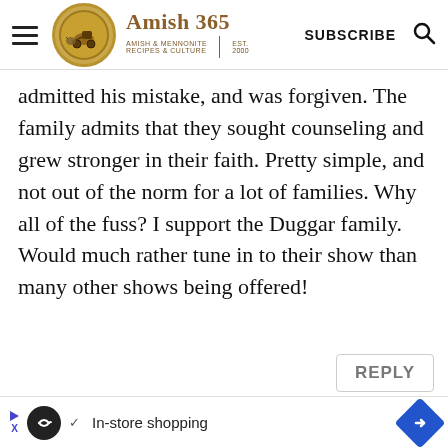Amish 365 — AMISH & MENNONITE RECIPES & CULTURE | EST. 2000 | SUBSCRIBE
admitted his mistake, and was forgiven. The family admits that they sought counseling and grew stronger in their faith. Pretty simple, and not out of the norm for a lot of families. Why all of the fuss? I support the Duggar family. Would much rather tune in to their show than many other shows being offered!
REPLY | In-store shopping